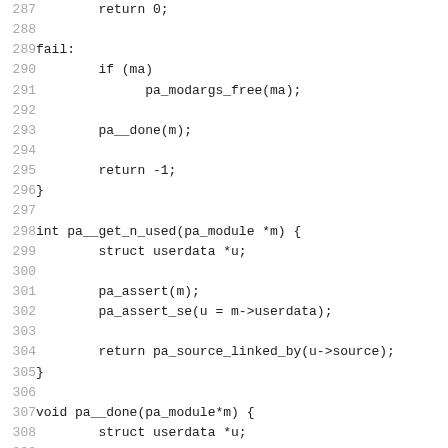Code listing lines 287-316 showing C functions pa__get_n_used and pa__done with fail label handling